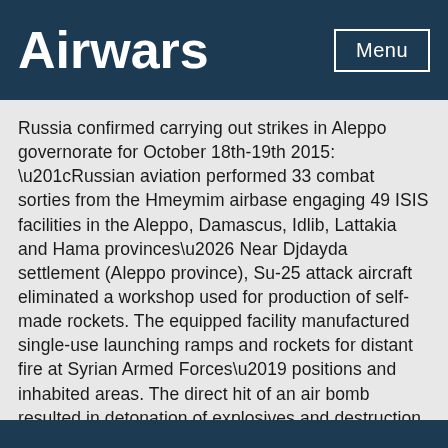Airwars
Russia confirmed carrying out strikes in Aleppo governorate for October 18th-19th 2015: “Russian aviation performed 33 combat sorties from the Hmeymim airbase engaging 49 ISIS facilities in the Aleppo, Damascus, Idlib, Lattakia and Hama provinces… Near Djdayda settlement (Aleppo province), Su-25 attack aircraft eliminated a workshop used for production of self-made rockets. The equipped facility manufactured single-use launching ramps and rockets for distant fire at Syrian Armed Forces’ positions and inhabited areas. The direct hit of an air bomb resulted in detonation of explosives and destruction of the whole facility.”